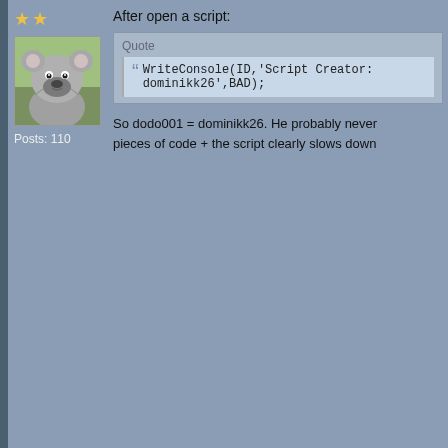[Figure (photo): Koala bear avatar photo]
Posts: 110
After open a script:
Quote
WriteConsole(ID,'Script Creator: dominikk26',BAD);
So dodo001 = dominikk26. He probably never pieces of code + the script clearly slows down
Akinaro
Flagrunner
Posts: 749
Re: I want Soldat Union's Script?
« Reply #9 on: October 30, 2014, 10:42:22 am
True that he is well known cheater and he like to use his script than not having it at all or use run...
I'm not defending him, but you have to admit t update/fix/upload script for past couple of mor
LOLDA